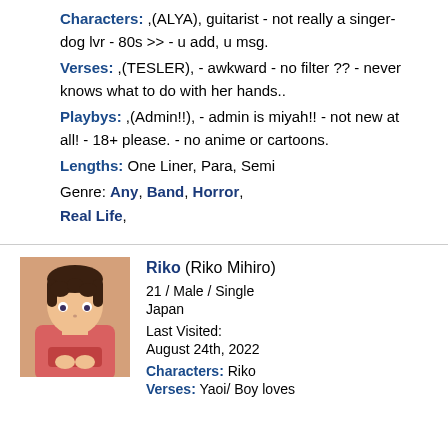Characters: ,(ALYA), guitarist - not really a singer- dog lvr - 80s >> - u add, u msg.
Verses: ,(TESLER), - awkward - no filter ?? - never knows what to do with her hands..
Playbys: ,(Admin!!), - admin is miyah!! - not new at all! - 18+ please. - no anime or cartoons.
Lengths: One Liner, Para, Semi
Genre: Any, Band, Horror, Real Life,
[Figure (illustration): Anime avatar of Riko Mihiro - young male with brown hair wearing a pink/red hoodie]
Riko (Riko Mihiro)
21 / Male / Single
Japan
Last Visited:
August 24th, 2022
Characters: Riko
Verses: Yaoi/ Boy loves